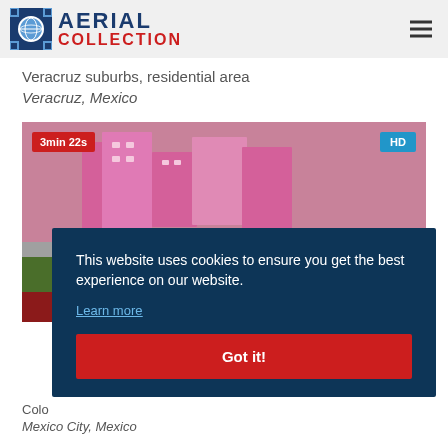AERIAL COLLECTION
Veracruz suburbs, residential area
Veracruz, Mexico
[Figure (photo): Aerial photo of Veracruz suburbs residential area showing pink multi-story buildings and urban streets. Badges show '3min 22s' and 'HD'.]
This website uses cookies to ensure you get the best experience on our website.
Learn more
Got it!
Colo
Mexico City, Mexico